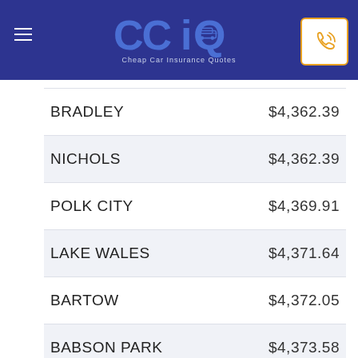[Figure (logo): CCIQ - Cheap Car Insurance Quotes logo with blue background, hamburger menu on left, phone icon on right]
| City | Rate |
| --- | --- |
| BRADLEY | $4,362.39 |
| NICHOLS | $4,362.39 |
| POLK CITY | $4,369.91 |
| LAKE WALES | $4,371.64 |
| BARTOW | $4,372.05 |
| BABSON PARK | $4,373.58 |
| PARRISH | $4,378.70 |